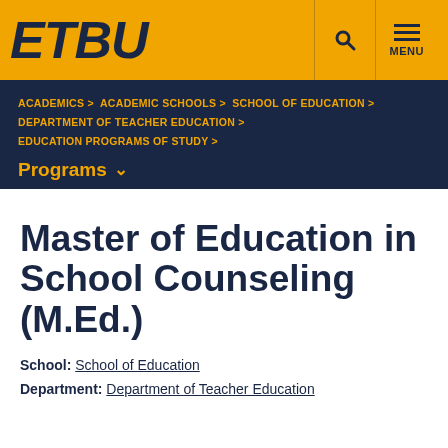ETBU
ACADEMICS > ACADEMIC SCHOOLS > SCHOOL OF EDUCATION > DEPARTMENT OF TEACHER EDUCATION > EDUCATION PROGRAMS OF STUDY >
Programs
Master of Education in School Counseling (M.Ed.)
School: School of Education
Department: Department of Teacher Education